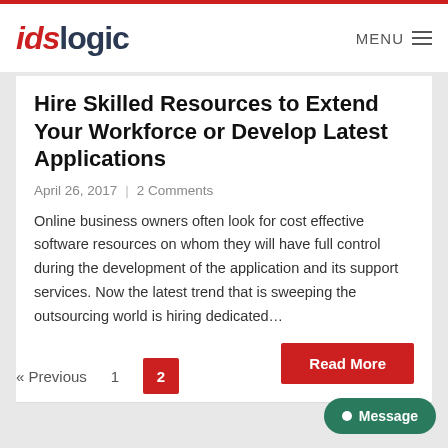idslogic  MENU
Hire Skilled Resources to Extend Your Workforce or Develop Latest Applications
April 26, 2017 | 2 Comments
Online business owners often look for cost effective software resources on whom they will have full control during the development of the application and its support services. Now the latest trend that is sweeping the outsourcing world is hiring dedicated…
Read More
« Previous  1  2
Message